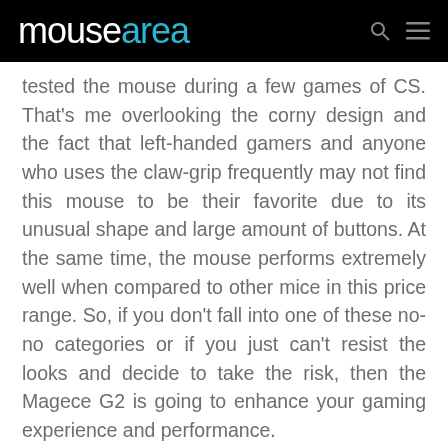mousearea
tested the mouse during a few games of CS. That’s me overlooking the corny design and the fact that left-handed gamers and anyone who uses the claw-grip frequently may not find this mouse to be their favorite due to its unusual shape and large amount of buttons. At the same time, the mouse performs extremely well when compared to other mice in this price range. So, if you don’t fall into one of these no-no categories or if you just can’t resist the looks and decide to take the risk, then the Magece G2 is going to enhance your gaming experience and performance.